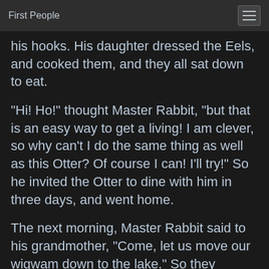First People
his hooks. His daughter dressed the Eels, and cooked them, and they all sat down to eat.
"Hi! Ho!" thought Master Rabbit, "but that is an easy way to get a living! I am clever, so why can't I do the same thing as well as this Otter? Of course I can! I'll try!" So he invited the Otter to dine with him in three days, and went home.
The next morning, Master Rabbit said to his grandmother, "Come, let us move our wigwam down to the lake." So they moved it, and he chose a spot close to the edge of the shore. Then he